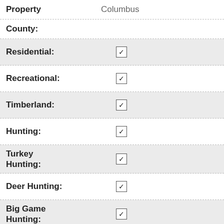Property: Columbus
County:
Residential: ☑
Recreational: ☑
Timberland: ☑
Hunting: ☑
Turkey Hunting: ☑
Deer Hunting: ☑
Big Game Hunting: ☑
Small Game Hunting: ☑